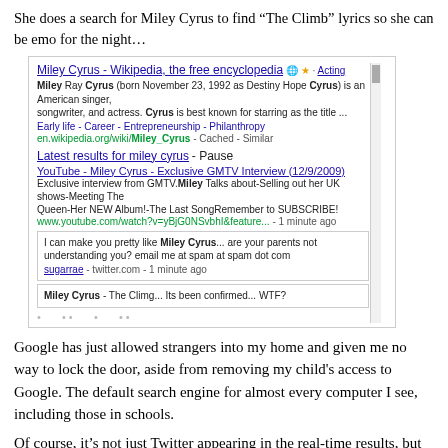She does a search for Miley Cyrus to find “The Climb” lyrics so she can be emo for the night…
[Figure (screenshot): Google search results screenshot for Miley Cyrus, showing Wikipedia result, real-time results including a YouTube video link, a spam tweet from sugarrae, and a Miley Cyrus tweet about The Climb.]
Google has just allowed strangers into my home and given me no way to lock the door, aside from removing my child's access to Google. The default search engine for almost every computer I see, including those in schools.
Of course, it’s not just Twitter appearing in the real-time results, but to date, Twitter seems to be the most spammable, most potentially libelous and most potentially dangerous.
And this is just the tip of the iceberg folks. Google may think they’re